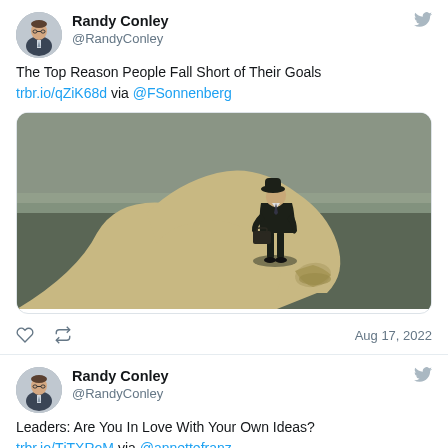[Figure (screenshot): Tweet from Randy Conley (@RandyConley) sharing article 'The Top Reason People Fall Short of Their Goals' with link trbr.io/qZiK68d via @FSonnenberg, with an attached image showing a surrealist painting of a man in a suit standing on a rolled-up sandy path in a field, dated Aug 17, 2022]
[Figure (screenshot): Tweet from Randy Conley (@RandyConley) sharing 'Leaders: Are You In Love With Your Own Ideas?' with link trbr.io/TjTXRoM via @annettefranz, dated Aug 17, 2022 (partially visible)]